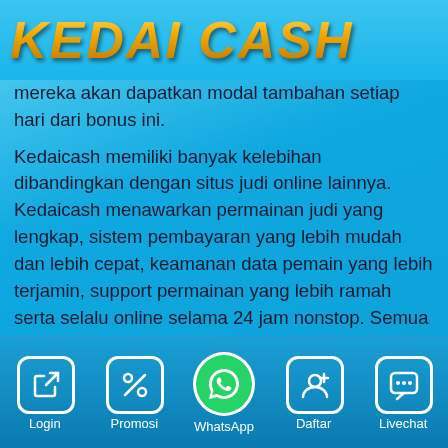KEDAI CASH
mereka akan dapatkan modal tambahan setiap hari dari bonus ini.
Kedaicash memiliki banyak kelebihan dibandingkan dengan situs judi online lainnya. Kedaicash menawarkan permainan judi yang lengkap, sistem pembayaran yang lebih mudah dan lebih cepat, keamanan data pemain yang lebih terjamin, support permainan yang lebih ramah serta selalu online selama 24 jam nonstop. Semua layanan ini akan memberikan lebih banyak keuntungan bagi para pemainnya. Kedaicash merupakan bandar slot online terbaik yang ada di Indonesia kini. Masih ada banyak keuntungan
Login | Promosi | WhatsApp | Daftar | Livechat